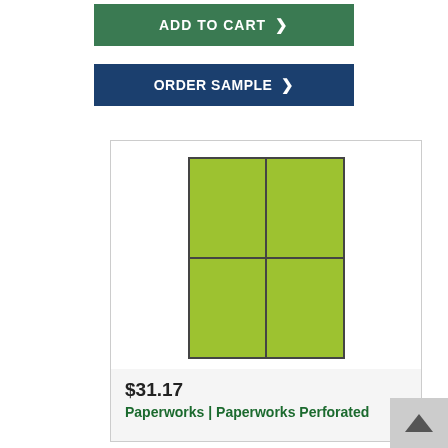[Figure (screenshot): Green 'ADD TO CART' button with arrow]
[Figure (screenshot): Navy blue 'ORDER SAMPLE' button with arrow]
[Figure (illustration): Product label sheet showing 4 yellow-green perforated labels arranged in 2x2 grid on white background within a bordered card]
$31.17
Paperworks | Paperworks Perforated